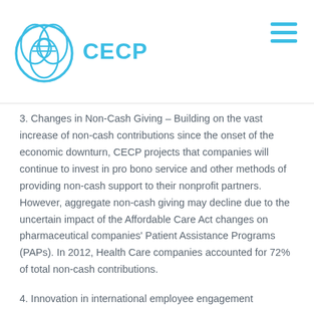CECP
3. Changes in Non-Cash Giving – Building on the vast increase of non-cash contributions since the onset of the economic downturn, CECP projects that companies will continue to invest in pro bono service and other methods of providing non-cash support to their nonprofit partners. However, aggregate non-cash giving may decline due to the uncertain impact of the Affordable Care Act changes on pharmaceutical companies' Patient Assistance Programs (PAPs). In 2012, Health Care companies accounted for 72% of total non-cash contributions.
4. Innovation in international employee engagement